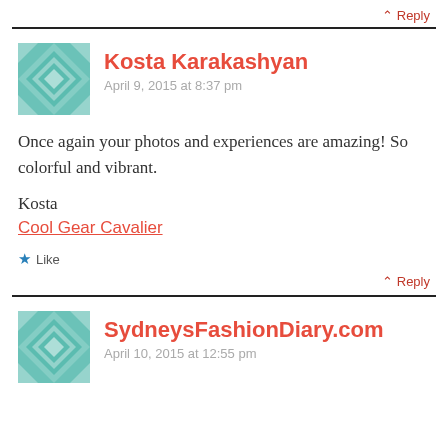^ Reply
Kosta Karakashyan
April 9, 2015 at 8:37 pm
Once again your photos and experiences are amazing! So colorful and vibrant.

Kosta
Cool Gear Cavalier
Like
^ Reply
SydneysFashionDiary.com
April 10, 2015 at 12:55 pm